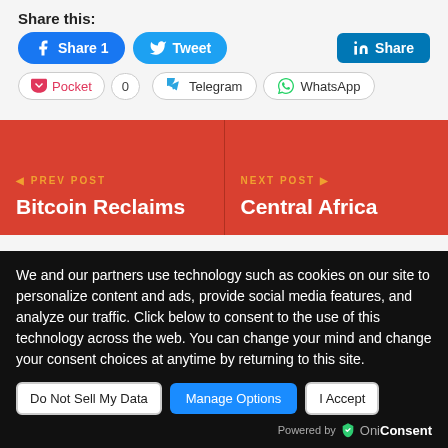Share this:
[Figure (screenshot): Social sharing buttons: Facebook Share 1, Tweet, LinkedIn Share, Pocket 0, Telegram, WhatsApp]
[Figure (screenshot): Navigation cards with red background. Left: PREV POST / Bitcoin Reclaims. Right: NEXT POST / Central Africa]
We and our partners use technology such as cookies on our site to personalize content and ads, provide social media features, and analyze our traffic. Click below to consent to the use of this technology across the web. You can change your mind and change your consent choices at anytime by returning to this site.
[Figure (screenshot): Cookie consent buttons: Do Not Sell My Data, Manage Options, I Accept. Powered by OniConsent]